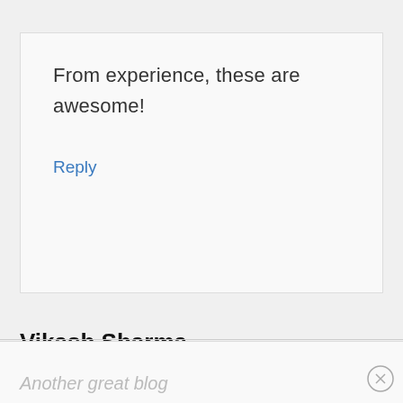From experience, these are awesome!
Reply
Vikash Sharma
Another great blog